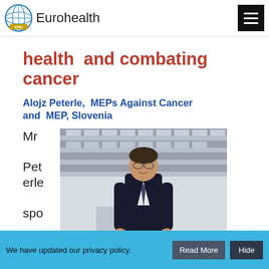Eurohealth
health and combating cancer
Alojz Peterle, MEPs Against Cancer and MEP, Slovenia
Mr Peterle spo ke
[Figure (photo): Portrait photo of Alojz Peterle, a man in a dark suit standing in front of a modern building with large windows]
We have updated our privacy policy. Read More Hide